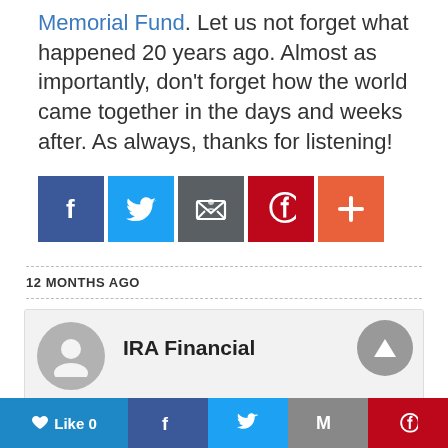Memorial Fund. Let us not forget what happened 20 years ago. Almost as importantly, don't forget how the world came together in the days and weeks after. As always, thanks for listening!
[Figure (infographic): Row of five social share buttons: Facebook (dark blue), Twitter (light blue), Email/envelope (dark grey), Pinterest (dark red), and a plus/more button (orange-red).]
12 MONTHS AGO
IRA Financial
[Figure (infographic): Bottom navigation bar with Like 0 button, Facebook, Twitter, Gmail (M), and Pinterest share icons.]